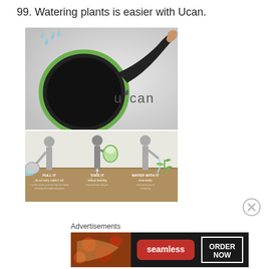99. Watering plants is easier with Ucan.
[Figure (photo): Ucan watering can product photo - a black round flat canister with green rim and a long tapered handle/spout, with water pouring out. 'Ucan' logo with water drop shown in lower right.]
[Figure (infographic): Three-step usage diagram on tan/brown background showing silhouette figures: 1) PULL IT - do not carry, make it roll; 2) TAKE IT - without bending, ergonomically adequate; 3) WATER WITH IT - more easily, watering the ground of watering.]
[Figure (illustration): Close button (circled X) icon]
Advertisements
[Figure (photo): Seamless food delivery advertisement banner showing pizza slices on left, 'seamless' red button in center, 'ORDER NOW' button with white border on right, dark background.]